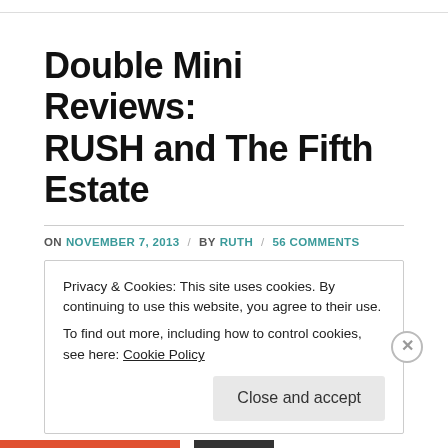Double Mini Reviews: RUSH and The Fifth Estate
ON NOVEMBER 7, 2013 / BY RUTH / 56 COMMENTS
Privacy & Cookies: This site uses cookies. By continuing to use this website, you agree to their use.
To find out more, including how to control cookies, see here: Cookie Policy
Close and accept